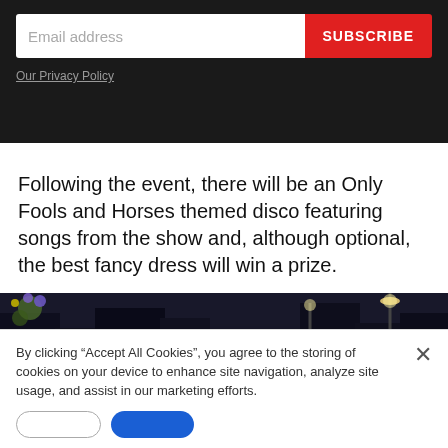[Figure (screenshot): Dark newsletter signup bar with email input field and red SUBSCRIBE button, and a 'Our Privacy Policy' link below]
Our Privacy Policy
Following the event, there will be an Only Fools and Horses themed disco featuring songs from the show and, although optional, the best fancy dress will win a prize.
[Figure (photo): Night-time outdoor photo of a person with arms outstretched beside a yellow vehicle, with car lights and buildings in background]
By clicking "Accept All Cookies", you agree to the storing of cookies on your device to enhance site navigation, analyze site usage, and assist in our marketing efforts.